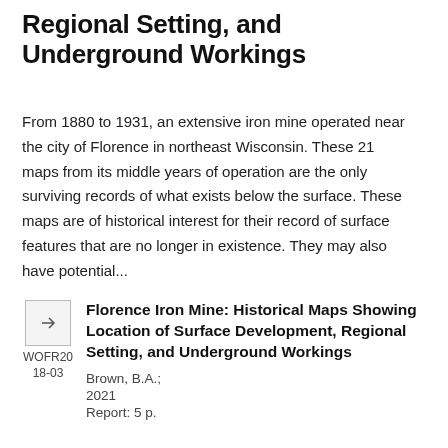Regional Setting, and Underground Workings
From 1880 to 1931, an extensive iron mine operated near the city of Florence in northeast Wisconsin. These 21 maps from its middle years of operation are the only surviving records of what exists below the surface. These maps are of historical interest for their record of surface features that are no longer in existence. They may also have potential...
[Figure (other): Small document thumbnail icon with a right-arrow symbol, labeled WOFR2018-03]
Florence Iron Mine: Historical Maps Showing Location of Surface Development, Regional Setting, and Underground Workings
Brown, B.A.;
2021
Report: 5 p.